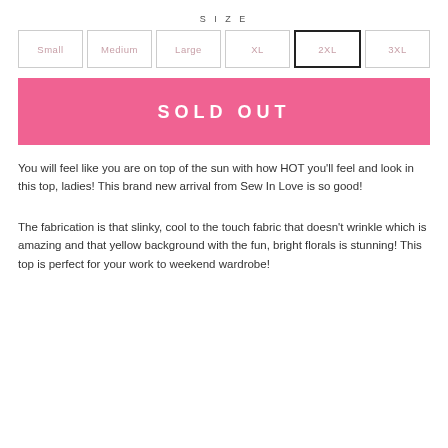SIZE
Small | Medium | Large | XL | 2XL | 3XL
SOLD OUT
You will feel like you are on top of the sun with how HOT you'll feel and look in this top, ladies! This brand new arrival from Sew In Love is so good!
The fabrication is that slinky, cool to the touch fabric that doesn't wrinkle which is amazing and that yellow background with the fun, bright florals is stunning! This top is perfect for your work to weekend wardrobe!